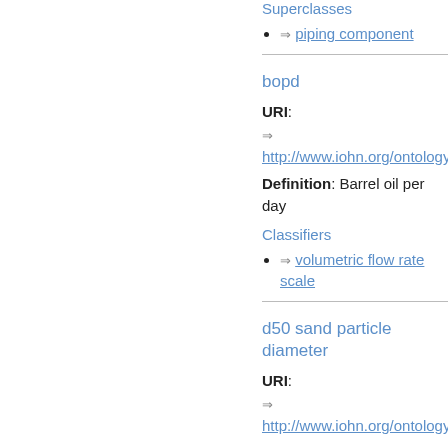Superclasses
⇒ piping component
bopd
URI: ⇒ http://www.iohn.org/ontology/...6#bopd
Definition: Barrel oil per day
Classifiers
⇒ volumetric flow rate scale
d50 sand particle diameter
URI: ⇒ http://www.iohn.org/ontology/...